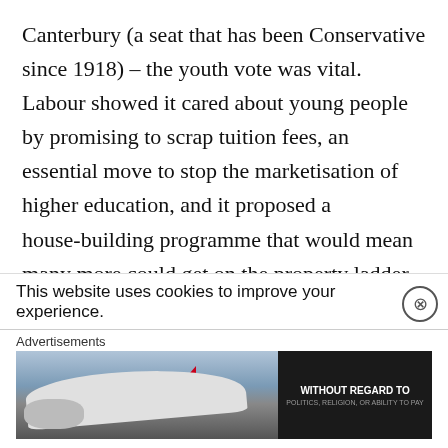Canterbury (a seat that has been Conservative since 1918) – the youth vote was vital. Labour showed it cared about young people by promising to scrap tuition fees, an essential move to stop the marketisation of higher education, and it proposed a house-building programme that would mean many more could get on the property ladder.

This is in stark contrast to the two other major parties – the Lib Dems in 2010 under Nick Clegg lied to them, and the Conservatives have
This website uses cookies to improve your experience.
Advertisements
[Figure (photo): Advertisement banner showing a cargo airplane on a tarmac with a dark right panel containing bold white text 'WITHOUT REGARD TO' and smaller text 'POLITICS, RELIGION, OR ABILITY TO PAY']